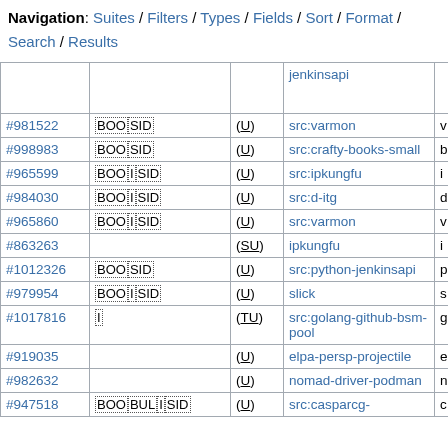Navigation: Suites / Filters / Types / Fields / Sort / Format / Search / Results
| ID | Flags | Status | Source | Extra |
| --- | --- | --- | --- | --- |
|  |  | jenkinsapi |  |  |
| #981522 | [BOO|SID] | (U) | src:varmon | v |
| #998983 | [BOO|SID] | (U) | src:crafty-books-small | b |
| #965599 | [BOO|I|SID] | (U) | src:ipkungfu | i |
| #984030 | [BOO|I|SID] | (U) | src:d-itg | d |
| #965860 | [BOO|I|SID] | (U) | src:varmon | v |
| #863263 |  | (SU) | ipkungfu | i |
| #1012326 | [BOO|SID] | (U) | src:python-jenkinsapi | p |
| #979954 | [BOO|I|SID] | (U) | slick | s |
| #1017816 | [I] | (TU) | src:golang-github-bsm-pool | g |
| #919035 |  | (U) | elpa-persp-projectile | e |
| #982632 |  | (U) | nomad-driver-podman | n |
| #947518 | [BOO|BUL|I|SID] | (U) | src:casparcg- | c |